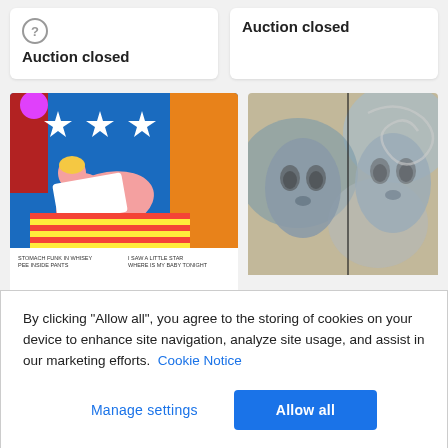Auction closed
Auction closed
[Figure (photo): Artwork showing a pop-art style figure lying on a striped bed with American flag stars on blue background and orange curtain; text at bottom reads: STOMACH FUNK IN WHISEY PEE INSIDE PANTS / I SAW A LITTLE STAR WHERE IS MY BABY TONIGHT]
[Figure (photo): Abstract painting showing two mask-like faces in muted blue, grey, and tan tones with swirling background]
By clicking "Allow all", you agree to the storing of cookies on your device to enhance site navigation, analyze site usage, and assist in our marketing efforts. Cookie Notice
Manage settings
Allow all